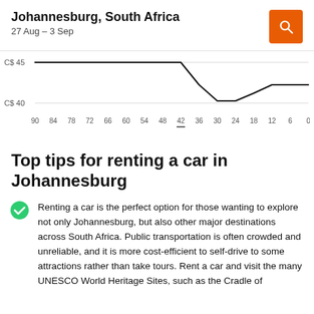Johannesburg, South Africa
27 Aug – 3 Sep
[Figure (line-chart): Price over days ahead]
Top tips for renting a car in Johannesburg
Renting a car is the perfect option for those wanting to explore not only Johannesburg, but also other major destinations across South Africa. Public transportation is often crowded and unreliable, and it is more cost-efficient to self-drive to some attractions rather than take tours. Rent a car and visit the many UNESCO World Heritage Sites, such as the Cradle of